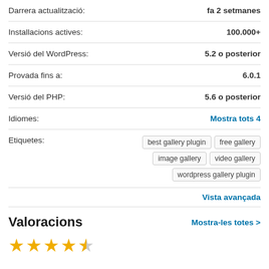Darrera actualització: fa 2 setmanes
Installacions actives: 100.000+
Versió del WordPress: 5.2 o posterior
Provada fins a: 6.0.1
Versió del PHP: 5.6 o posterior
Idiomes: Mostra tots 4
Etiquetes: best gallery plugin, free gallery, image gallery, video gallery, wordpress gallery plugin
Vista avançada
Valoracions
Mostra-les totes >